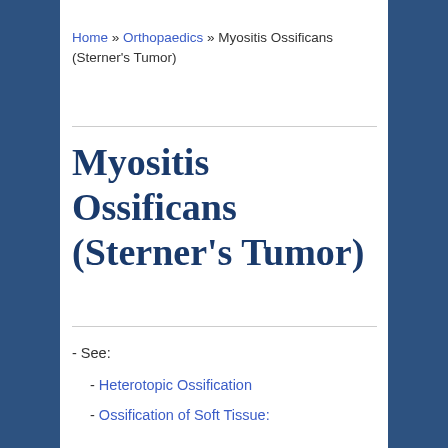Home » Orthopaedics » Myositis Ossificans (Sterner's Tumor)
Myositis Ossificans (Sterner's Tumor)
- See:
- Heterotopic Ossification
- Ossification of Soft Tissue: